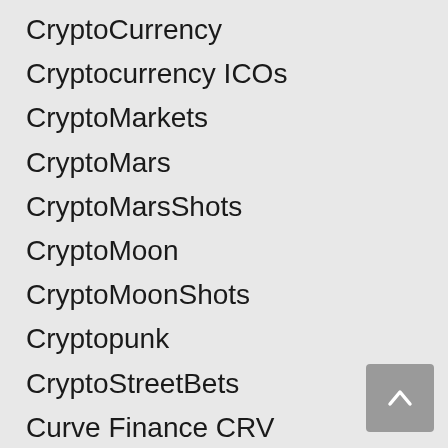CryptoCurrency
Cryptocurrency ICOs
CryptoMarkets
CryptoMars
CryptoMarsShots
CryptoMoon
CryptoMoonShots
Cryptopunk
CryptoStreetBets
Curve Finance CRV
DeFi
DODO
DogeCoin